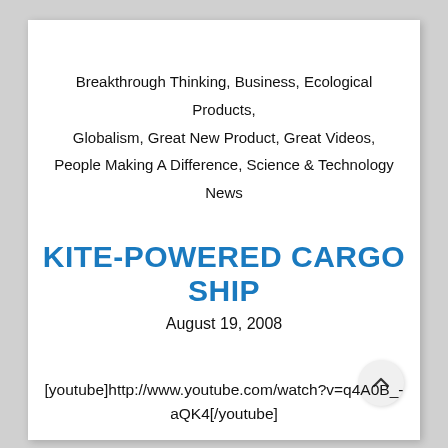Breakthrough Thinking, Business, Ecological Products, Globalism, Great New Product, Great Videos, People Making A Difference, Science & Technology News
KITE-POWERED CARGO SHIP
August 19, 2008
[youtube]http://www.youtube.com/watch?v=q4A0B_-aQK4[/youtube]